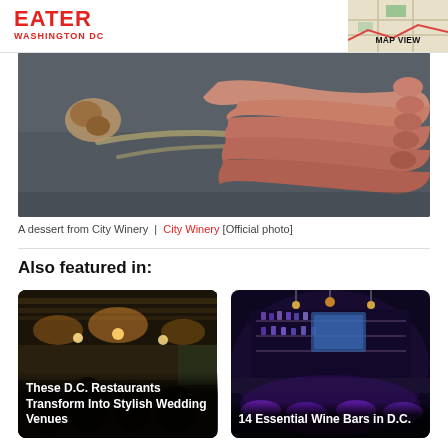EATER WASHINGTON DC
[Figure (photo): A dessert from City Winery — close-up of curved food items on a dark plate]
A dessert from City Winery  |  City Winery [Official photo]
Also featured in:
[Figure (photo): Interior of a restaurant with industrial ceiling — card for These D.C. Restaurants Transform Into Stylish Wedding Venues]
[Figure (photo): Dark moody bar interior with purple lighting — card for 14 Essential Wine Bars in D.C.]